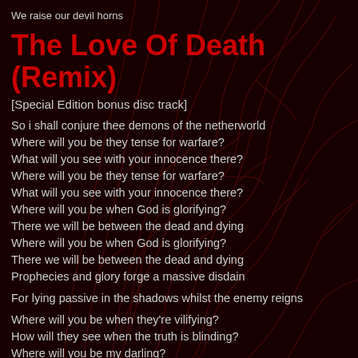We raise our devil horns
The Love Of Death (Remix)
[Special Edition bonus disc track]
So i shall conjure thee demons of the netherworld
Where will you be they tense for warfare?
What will you see with your innocence there?
Where will you be they tense for warfare?
What will you see with your innocence there?
Where will you be when God is glorifying?
There we will be between the dead and dying
Where will you be when God is glorifying?
There we will be between the dead and dying
Prophecies and glory forge a massive disdain
For lying passive in the shadows whilst the enemy reigns
Where will you be when they're vilifying?
How will they see when the truth is blinding?
Where will you be my darling?
Where will you be when they're vilifying?